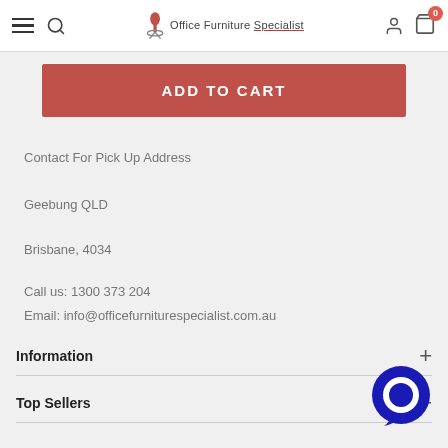Office Furniture Specialist — navigation header with menu, search, logo, user and cart icons
ADD TO CART
Contact For Pick Up Address
Geebung QLD
Brisbane, 4034
Call us: 1300 373 204
Email: info@officefurniturespecialist.com.au
Information
Top Sellers
[Figure (illustration): Dark blue circular chat/messenger button overlay in bottom right corner]